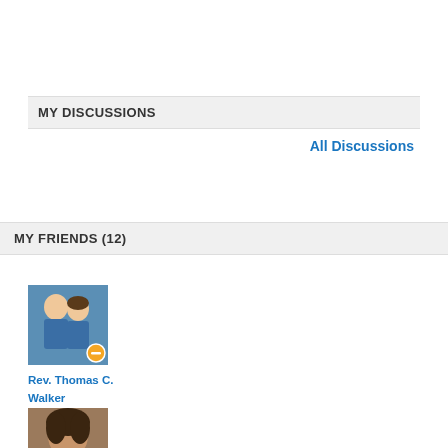MY DISCUSSIONS
All Discussions
MY FRIENDS (12)
[Figure (photo): Profile photo of Rev. Thomas C. Walker — a man and woman posing together, with a yellow/orange status icon badge in the lower right]
Rev. Thomas C. Walker
[Figure (photo): Partial profile photo, a person with dark hair, cropped at bottom of page]